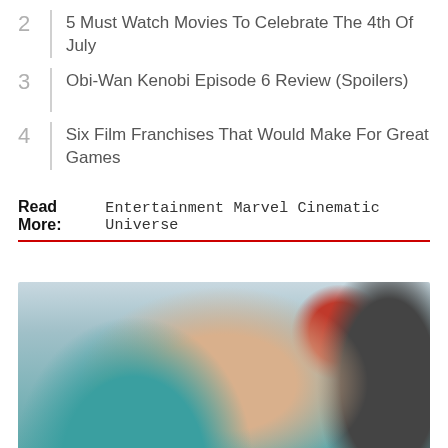2  5 Must Watch Movies To Celebrate The 4th Of July
3  Obi-Wan Kenobi Episode 6 Review (Spoilers)
4  Six Film Franchises That Would Make For Great Games
Read More:  Entertainment Marvel Cinematic Universe
[Figure (photo): Close-up photograph of a woman with blonde hair wearing a teal jacket and gold earring, looking to the side, with a crowd in the background.]